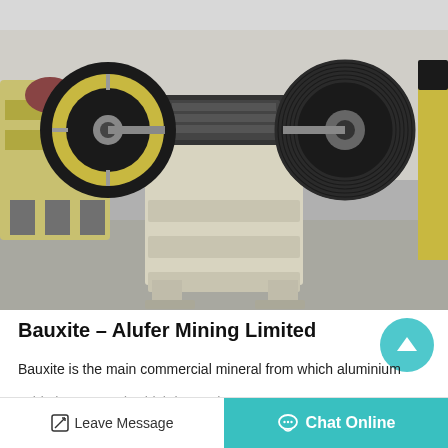[Figure (photo): Industrial jaw crusher machine with large black flywheels on each side, cream/beige body frame with horizontal support bars, photographed in a warehouse or factory setting. Multiple similar machines visible in the background.]
Bauxite – Alufer Mining Limited
Bauxite is the main commercial mineral from which aluminium
oxide is extracted, which in turn is...